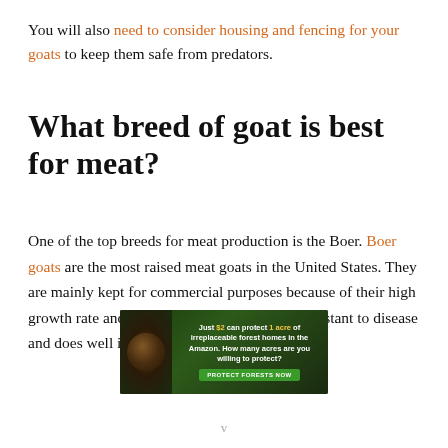You will also need to consider housing and fencing for your goats to keep them safe from predators.
What breed of goat is best for meat?
One of the top breeds for meat production is the Boer. Boer goats are the most raised meat goats in the United States. They are mainly kept for commercial purposes because of their high growth rate and fertility. The Boer is highly resistant to disease and does well in the
[Figure (infographic): Advertisement banner: dark green background with orangutan photo on left. Text reads: 'Just $2 can protect 1 acre of irreplaceable forest homes in the Amazon. How many acres are you willing to protect?' with a green 'PROTECT FORESTS NOW' button.]
v